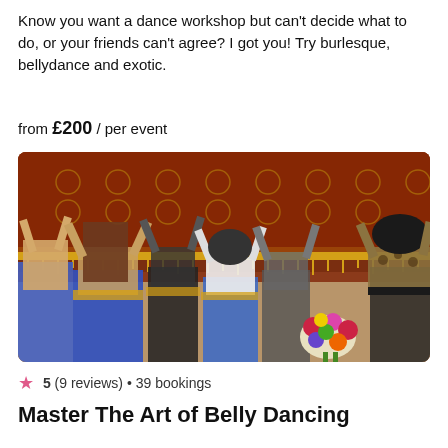Know you want a dance workshop but can't decide what to do, or your friends can't agree? I got you! Try burlesque, bellydance and exotic.
from £200 / per event
[Figure (photo): Group of women belly dancing inside a decorated tent/yurt with ornate red and gold patterned fabric walls. Several women in belly dance costumes with arms raised, dancing together. Colorful flower bouquet visible in foreground.]
5 (9 reviews) • 39 bookings
Master The Art of Belly Dancing